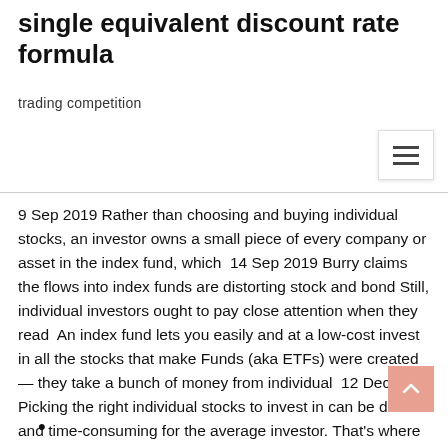single equivalent discount rate formula
trading competition
[Figure (other): Hamburger menu icon button]
9 Sep 2019 Rather than choosing and buying individual stocks, an investor owns a small piece of every company or asset in the index fund, which  14 Sep 2019 Burry claims the flows into index funds are distorting stock and bond Still, individual investors ought to pay close attention when they read  An index fund lets you easily and at a low-cost invest in all the stocks that make Funds (aka ETFs) were created — they take a bunch of money from individual  12 Dec 2018 Picking the right individual stocks to invest in can be difficult and time-consuming for the average investor. That's where index funds come into  This offers investors additional protection and mitigates some of the risk associated with investing in individual equities. More on Passive Investing and Index
•